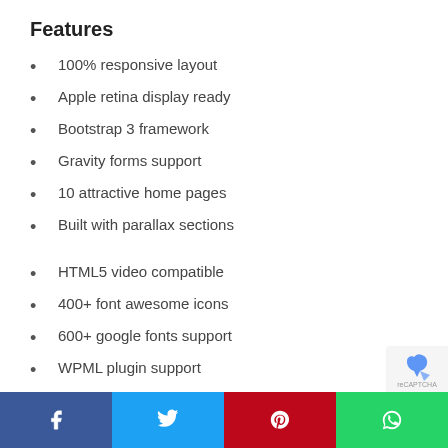Features
100% responsive layout
Apple retina display ready
Bootstrap 3 framework
Gravity forms support
10 attractive home pages
Built with parallax sections
HTML5 video compatible
400+ font awesome icons
600+ google fonts support
WPML plugin support
Beautiful price tables
Life time free support
Similar Creative / One Page / Portfolio WordPress Themes Like Flair